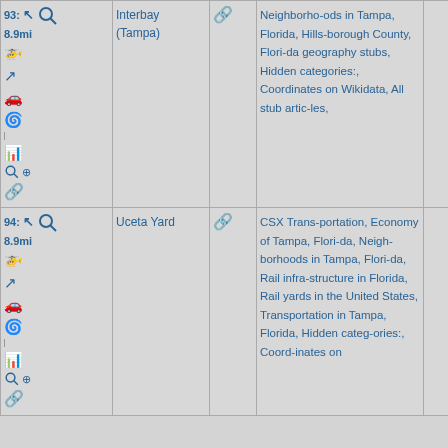| #/Distance/Icons | Place | Link | Categories |  |
| --- | --- | --- | --- | --- |
| 93: 8.9mi [icons] | Interbay (Tampa) | [link] | Neighborhoods in Tampa, Florida, Hillsborough County, Florida geography stubs, Hidden categories:, Coordinates on Wikidata, All stub articles, |  |
| 94: 8.9mi [icons] | Uceta Yard | [link] | CSX Transportation, Economy of Tampa, Florida, Neighborhoods in Tampa, Florida, Rail infrastructure in Florida, Rail yards in the United States, Transportation in Tampa, Florida, Hidden categories:, Coordinates on |  |